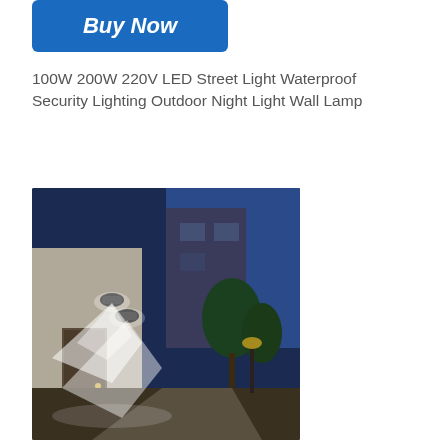[Figure (other): Blue 'Buy Now' button with italic bold white text on a blue rounded rectangle background]
100W 200W 220V LED Street Light Waterproof Security Lighting Outdoor Night Light Wall Lamp
[Figure (photo): Outdoor night photo showing LED security wall lamps mounted on a building exterior, illuminating a pathway and garden. The lights emit bright white beams against a dark blue night sky, with trees and a garden visible in the background.]